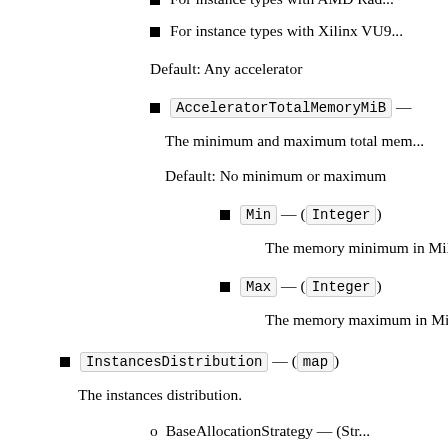For instance types with AMD Rad...
For instance types with Xilinx VUS...
Default: Any accelerator
AcceleratorTotalMemoryMiB — ...
The minimum and maximum total mem...
Default: No minimum or maximum
Min — (Integer)
The memory minimum in MiB.
Max — (Integer)
The memory maximum in MiB.
InstancesDistribution — (map)
The instances distribution.
o BaseAllocationStrategy — (Str...